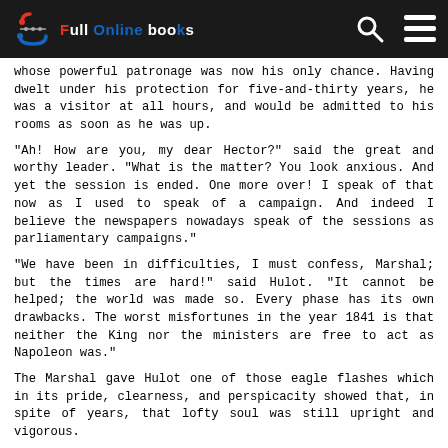Full Online Books
whose powerful patronage was now his only chance. Having dwelt under his protection for five-and-thirty years, he was a visitor at all hours, and would be admitted to his rooms as soon as he was up.
"Ah! How are you, my dear Hector?" said the great and worthy leader. "What is the matter? You look anxious. And yet the session is ended. One more over! I speak of that now as I used to speak of a campaign. And indeed I believe the newspapers nowadays speak of the sessions as parliamentary campaigns."
"We have been in difficulties, I must confess, Marshal; but the times are hard!" said Hulot. "It cannot be helped; the world was made so. Every phase has its own drawbacks. The worst misfortunes in the year 1841 is that neither the King nor the ministers are free to act as Napoleon was."
The Marshal gave Hulot one of those eagle flashes which in its pride, clearness, and perspicacity showed that, in spite of years, that lofty soul was still upright and vigorous.
"You want me to so something for you?" said he, in a hearty tone.
"I find myself under the necessity of applying to you for the promotion of one of my second clerks to the head of a room--as a personal favor to myself--and his advancement to be officer of the Legion of Honor."
"What is his name?" said the Marshal, with a look like a lightning flash.
"Marneffe."
"He has a pretty wife; I saw her on the occasion of your daughter's marriage. If Roger, but Roger, is away! Hector, my boy, this is